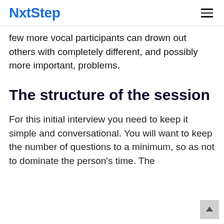NxtStep
few more vocal participants can drown out others with completely different, and possibly more important, problems.
The structure of the session
For this initial interview you need to keep it simple and conversational. You will want to keep the number of questions to a minimum, so as not to dominate the person's time. The